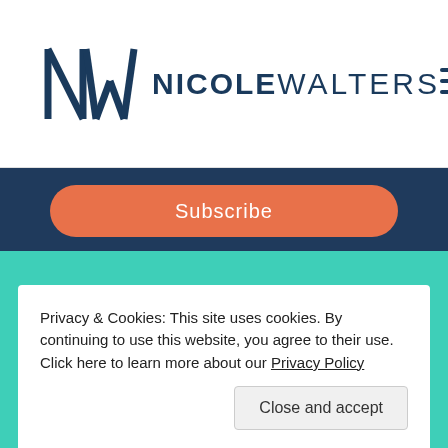[Figure (logo): Nicole Walters logo with stylized NW monogram in dark navy and text NICOLE WALTERS in bold dark navy, with hamburger menu icon on the right]
Subscribe
[Figure (infographic): Dark navy blue background section with teal social media icons: Facebook, Instagram, LinkedIn, location pin, Twitter]
Privacy & Cookies: This site uses cookies. By continuing to use this website, you agree to their use.
Click here to learn more about our Privacy Policy
Close and accept